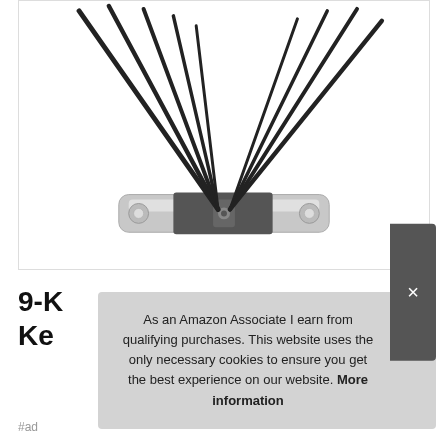[Figure (photo): A folding hex key / Allen wrench set with multiple black hex keys fanned out from a silver metal handle, photographed from above against a white background.]
9-K… Ke…
As an Amazon Associate I earn from qualifying purchases. This website uses the only necessary cookies to ensure you get the best experience on our website. More information
#ad